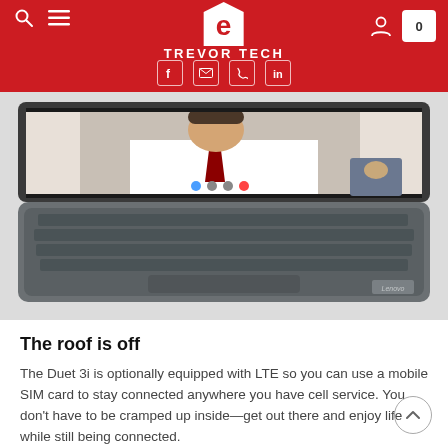TREVOR TECH
[Figure (photo): Lenovo Duet 3i laptop open with a video call on screen showing a man in a white shirt and tie, photographed from the front/above showing the keyboard.]
The roof is off
The Duet 3i is optionally equipped with LTE so you can use a mobile SIM card to stay connected anywhere you have cell service. You don't have to be cramped up inside—get out there and enjoy life while still being connected.